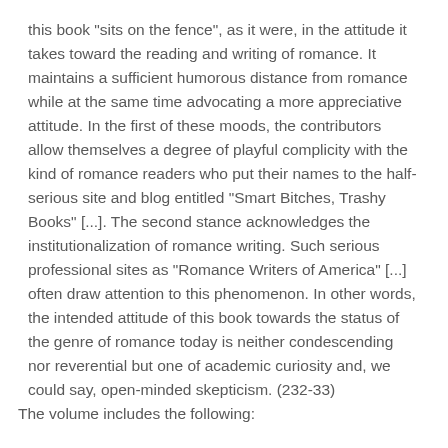this book "sits on the fence", as it were, in the attitude it takes toward the reading and writing of romance. It maintains a sufficient humorous distance from romance while at the same time advocating a more appreciative attitude. In the first of these moods, the contributors allow themselves a degree of playful complicity with the kind of romance readers who put their names to the half-serious site and blog entitled "Smart Bitches, Trashy Books" [...]. The second stance acknowledges the institutionalization of romance writing. Such serious professional sites as "Romance Writers of America" [...] often draw attention to this phenomenon. In other words, the intended attitude of this book towards the status of the genre of romance today is neither condescending nor reverential but one of academic curiosity and, we could say, open-minded skepticism. (232-33)
The volume includes the following: